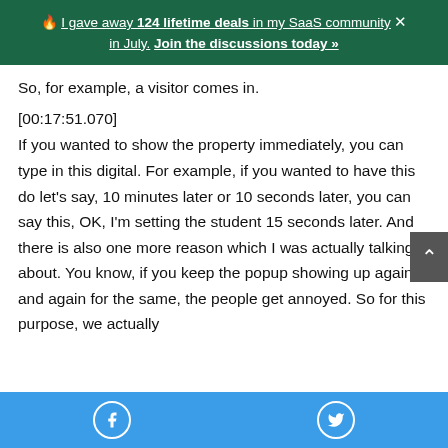🔥 I gave away 124 lifetime deals in my SaaS community × in July. Join the discussions today »
So, for example, a visitor comes in.
[00:17:51.070]
If you wanted to show the property immediately, you can type in this digital. For example, if you wanted to have this do let's say, 10 minutes later or 10 seconds later, you can say this, OK, I'm setting the student 15 seconds later. And there is also one more reason which I was actually talking about. You know, if you keep the popup showing up again and again for the same, the people get annoyed. So for this purpose, we actually
Facebook  Twitter